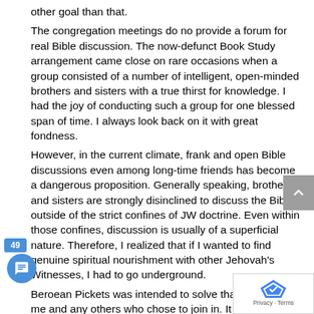other goal than that.
The congregation meetings do no provide a forum for real Bible discussion. The now-defunct Book Study arrangement came close on rare occasions when a group consisted of a number of intelligent, open-minded brothers and sisters with a true thirst for knowledge. I had the joy of conducting such a group for one blessed span of time. I always look back on it with great fondness.
However, in the current climate, frank and open Bible discussions even among long-time friends has become a dangerous proposition. Generally speaking, brothers and sisters are strongly disinclined to discuss the Bible outside of the strict confines of JW doctrine. Even within those confines, discussion is usually of a superficial nature. Therefore, I realized that if I wanted to find genuine spiritual nourishment with other Jehovah's Witnesses, I had to go underground.
Beroean Pickets was intended to solve that problem for me and any others who chose to join in. It was intended to provide a place in cyberspace where